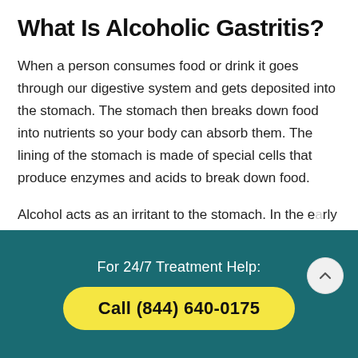What Is Alcoholic Gastritis?
When a person consumes food or drink it goes through our digestive system and gets deposited into the stomach. The stomach then breaks down food into nutrients so your body can absorb them. The lining of the stomach is made of special cells that produce enzymes and acids to break down food.
Alcohol acts as an irritant to the stomach. In the early stages of alcoholic gastritis, this can feel like
For 24/7 Treatment Help:
Call (844) 640-0175